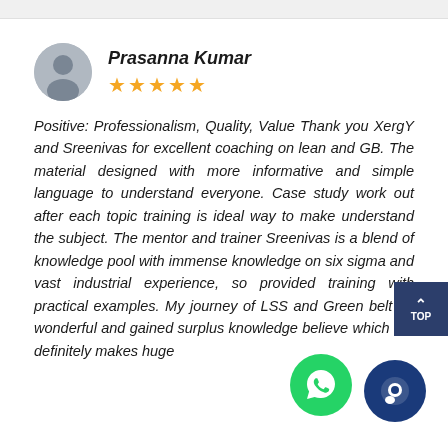[Figure (illustration): User avatar icon (silhouette of a person) in a gray circle]
Prasanna Kumar
[Figure (other): Five gold star rating]
Positive: Professionalism, Quality, Value Thank you XergY and Sreenivas for excellent coaching on lean and GB. The material designed with more informative and simple language to understand everyone. Case study work out after each topic training is ideal way to make understand the subject. The mentor and trainer Sreenivas is a blend of knowledge pool with immense knowledge on six sigma and vast industrial experience, so provided training with practical examples. My journey of LSS and Green belt on wonderful and gained surplus knowledge believe which will definitely makes huge